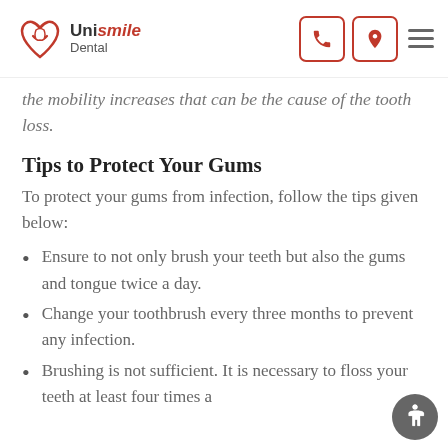UniSmile Dental — navigation bar with phone, location and menu icons
the mobility increases that can be the cause of the tooth loss.
Tips to Protect Your Gums
To protect your gums from infection, follow the tips given below:
Ensure to not only brush your teeth but also the gums and tongue twice a day.
Change your toothbrush every three months to prevent any infection.
Brushing is not sufficient. It is necessary to floss your teeth at least four times a